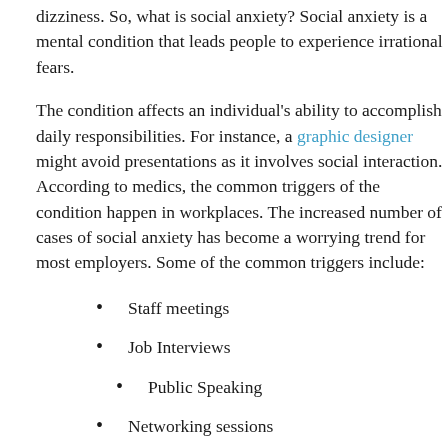dizziness. So, what is social anxiety? Social anxiety is a mental condition that leads people to experience irrational fears.
The condition affects an individual's ability to accomplish daily responsibilities. For instance, a graphic designer might avoid presentations as it involves social interaction. According to medics, the common triggers of the condition happen in workplaces. The increased number of cases of social anxiety has become a worrying trend for most employers. Some of the common triggers include:
Staff meetings
Job Interviews
Public Speaking
Networking sessions
Maintaining Contact